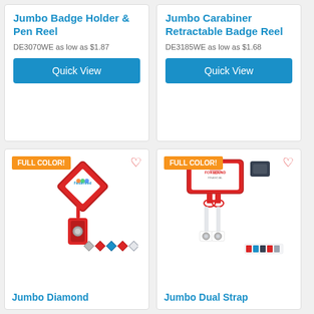Jumbo Badge Holder & Pen Reel
DE3070WE as low as $1.87
Quick View
Jumbo Carabiner Retractable Badge Reel
DE3185WE as low as $1.68
Quick View
[Figure (photo): Jumbo Diamond badge reel product photo with FULL COLOR badge, showing red diamond-shaped badge holder with FelderMed logo, and small color variants below]
Jumbo Diamond
[Figure (photo): Jumbo Dual Strap badge reel product photo with FULL COLOR badge, showing red badge holder with FoxHound Financial logo and dual retractable straps, with color variants]
Jumbo Dual Strap